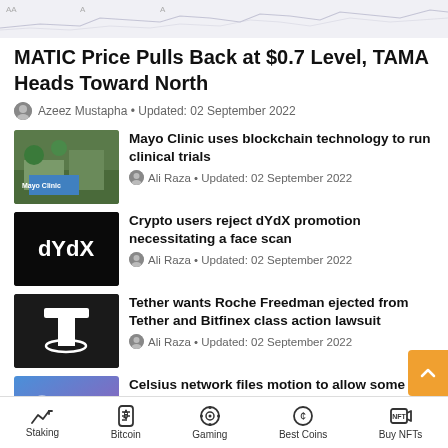[Figure (continuous-plot): Faint stock/price chart line graph strip at top of page, light purple/gray tones]
MATIC Price Pulls Back at $0.7 Level, TAMA Heads Toward North
Azeez Mustapha • Updated: 02 September 2022
[Figure (photo): Mayo Clinic building exterior with signage and trees]
Mayo Clinic uses blockchain technology to run clinical trials
Ali Raza • Updated: 02 September 2022
[Figure (logo): dYdX logo on black background]
Crypto users reject dYdX promotion necessitating a face scan
Ali Raza • Updated: 02 September 2022
[Figure (logo): Tether (USDT) T logo on dark background]
Tether wants Roche Freedman ejected from Tether and Bitfinex class action lawsuit
Ali Raza • Updated: 02 September 2022
[Figure (logo): Celsius network logo with blue-purple gradient background]
Celsius network files motion to allow some customers to withdraw assets
Ali Raza • Updated: 02 September 2022
Staking | Bitcoin | Gaming | Best Coins | Buy NFTs